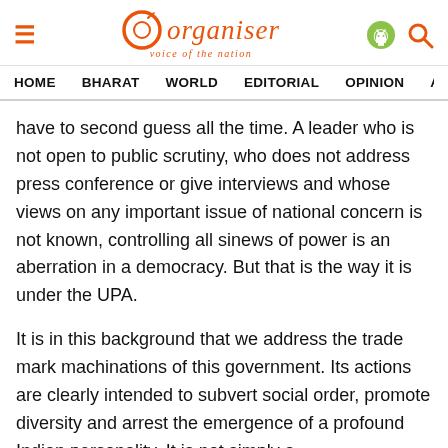Organiser — voice of the nation
HOME  BHARAT  WORLD  EDITORIAL  OPINION  ANA…
have to second guess all the time. A leader who is not open to public scrutiny, who does not address press conference or give interviews and whose views on any important issue of national concern is not known, controlling all sinews of power is an aberration in a democracy. But that is the way it is under the UPA.
It is in this background that we address the trade mark machinations of this government. Its actions are clearly intended to subvert social order, promote diversity and arrest the emergence of a profound Indian personality. It is not simply a